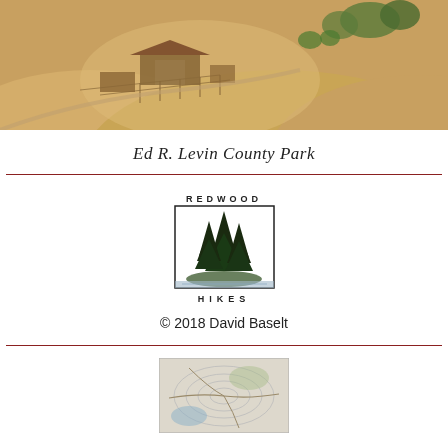[Figure (photo): Aerial view of Ed R. Levin County Park showing golden hills, ranch buildings, and fences]
Ed R. Levin County Park
[Figure (logo): Redwood Hikes logo with trees and landscape illustration, text REDWOOD above and HIKES below]
© 2018 David Baselt
[Figure (map): Partial map image visible at bottom of page]